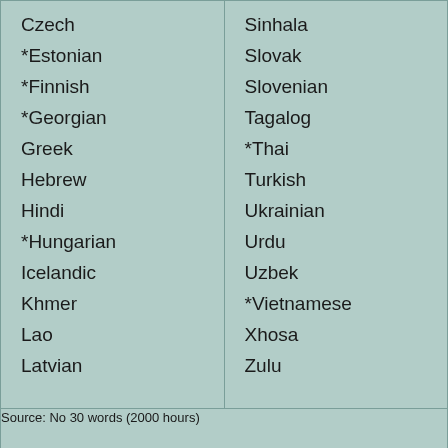Czech
*Estonian
*Finnish
*Georgian
Greek
Hebrew
Hindi
*Hungarian
Icelandic
Khmer
Lao
Latvian
Sinhala
Slovak
Slovenian
Tagalog
*Thai
Turkish
Ukrainian
Urdu
Uzbek
*Vietnamese
Xhosa
Zulu
Source: No 30 words (2000 hours)